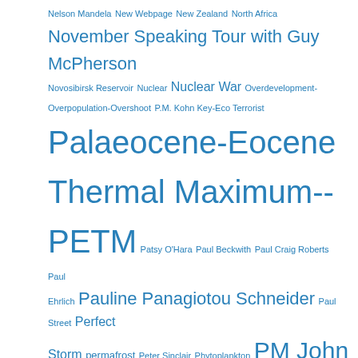Nelson Mandela New Webpage New Zealand North Africa November Speaking Tour with Guy McPherson Novosibirsk Reservoir Nuclear Nuclear War Overdevelopment-Overpopulation-Overshoot P.M. Kohn Key-Eco Terrorist Palaeocene-Eocene Thermal Maximum--PETM Patsy O'Hara Paul Beckwith Paul Craig Roberts Paul Ehrlich Pauline Panagiotou Schneider Paul Street Perfect Storm permafrost Peter Sinclair Phytoplankton PM John Key Podcast Pollution PRN Professor Paul Beckwith Prof Guy McPhersons Abrupt Climate Change Tour NZ 2016 Psychopathic Records of Air Tempatures Relief Analysis Richar Vivers RobertScribbler Robin Westenra Runaway Abrupt Climate Change Runaway Global Warming Russia Sam Carana SeeMoreRocks Blog Siberia-Yamal-Taimyr Sinn Fein South African Communist Party South Florida Corals South Pacific Storms of Our Grandchildren-James E Hansen Subsea Methane Sustainability Syria Syrian Conflict Temperature Anomalies TEPCO The Collapse of Industrial Civilisation The Pain You Feel Thom Hartmann